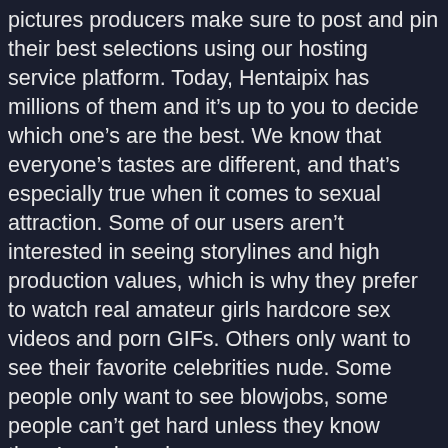pictures producers make sure to post and pin their best selections using our hosting service platform. Today, Hentaipix has millions of them and it's up to you to decide which one's are the best. We know that everyone's tastes are different, and that's especially true when it comes to sexual attraction. Some of our users aren't interested in seeing storylines and high production values, which is why they prefer to watch real amateur girls hardcore sex videos and porn GIFs. Others only want to see their favorite celebrities nude. Some people only want to see blowjobs, some people can't get hard unless they know there's anal coming up.
Knowing that everyone has their own sexual preferences, we give you so many more options than your average sex tube. Most porn tubes will only offer you a massive selection of free porn videos. Here on Hentaipix, we have so many porn and sex videos; you